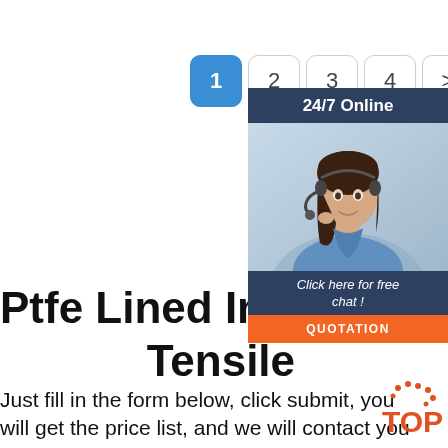[Figure (other): Pagination bar with buttons 1 (active/blue), 2, 3, 4, > (next)]
[Figure (other): Sidebar widget with '24/7 Online' header, customer service agent photo, 'Click here for free chat!' text, and orange QUOTATION button]
Ptfe Lined Industrial Ho Tensile
Just fill in the form below, click submit, you will get the price list, and we will contact you within one working day. Please also feel free to contact us via